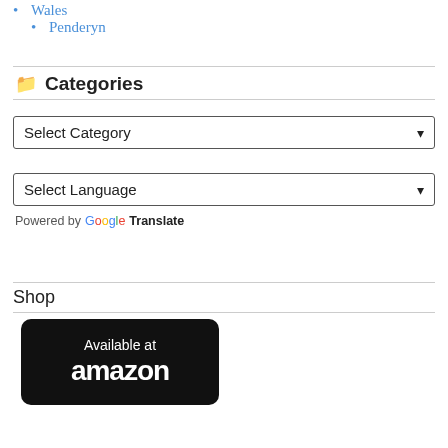Wales
Penderyn
Categories
Select Category
Select Language
Powered by Google Translate
Shop
[Figure (logo): Available at Amazon badge - black rounded rectangle with white text 'Available at amazon']